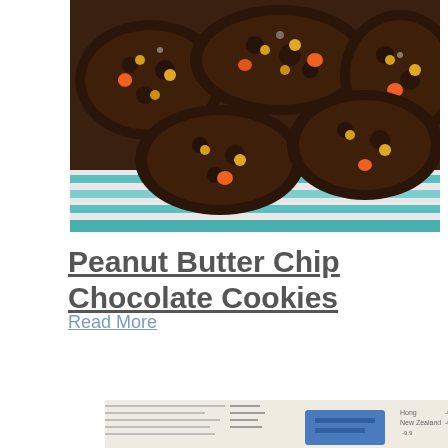[Figure (photo): Close-up photo of chocolate cookies with peanut butter chips and orange/yellow candy pieces on a striped plate]
Peanut Butter Chip Chocolate Cookies
Read More
[Figure (photo): Photo of financial newspaper with stock market data and a blue object partially visible]